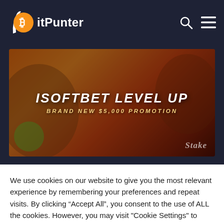BitPunter
[Figure (illustration): iSoftBet Level Up promotional banner showing cartoon game characters on an orange/red background with text 'ISOFTBET LEVEL UP - BRAND NEW $5,000 PROMOTION' and Stake logo]
We use cookies on our website to give you the most relevant experience by remembering your preferences and repeat visits. By clicking “Accept All”, you consent to the use of ALL the cookies. However, you may visit "Cookie Settings" to provide a controlled consent.
Cookie Settings | Accept All